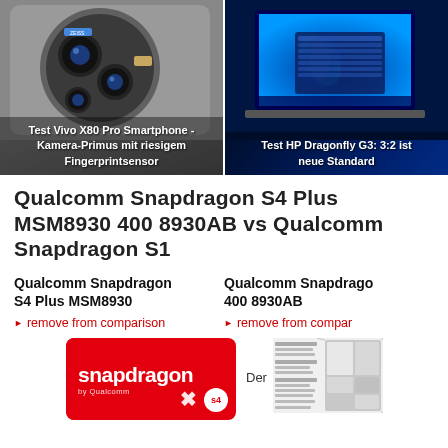[Figure (photo): Two product review thumbnails side by side: left shows Vivo X80 Pro smartphone camera module, right shows HP Dragonfly G3 laptop with Windows 11]
Test Vivo X80 Pro Smartphone - Kamera-Primus mit riesigem Fingerprintsensor
Test HP Dragonfly G3: 3:2 ist neue Standard
Qualcomm Snapdragon S4 Plus MSM8930 400 8930AB vs Qualcomm Snapdragon S1
Qualcomm Snapdragon S4 Plus MSM8930
Qualcomm Snapdragon 400 8930AB
remove from comparison
remove from comparison
[Figure (logo): Snapdragon by Qualcomm S4 red badge logo]
Der
[Figure (schematic): Qualcomm Snapdragon chip block diagram showing processor architecture layout]